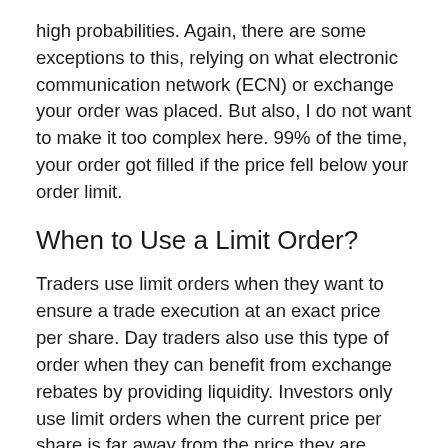high probabilities. Again, there are some exceptions to this, relying on what electronic communication network (ECN) or exchange your order was placed. But also, I do not want to make it too complex here. 99% of the time, your order got filled if the price fell below your order limit.
When to Use a Limit Order?
Traders use limit orders when they want to ensure a trade execution at an exact price per share. Day traders also use this type of order when they can benefit from exchange rebates by providing liquidity. Investors only use limit orders when the current price per share is far away from the price they are willing to pay.